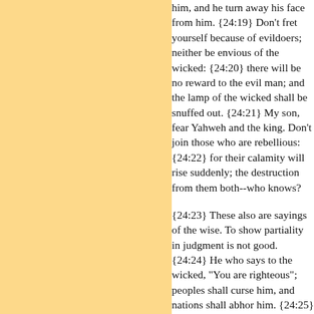him, and he turn away his face from him. {24:19} Don't fret yourself because of evildoers; neither be envious of the wicked: {24:20} for there will be no reward to the evil man; and the lamp of the wicked shall be snuffed out. {24:21} My son, fear Yahweh and the king. Don't join those who are rebellious: {24:22} for their calamity will rise suddenly; the destruction from them both--who knows? {24:23} These also are sayings of the wise. To show partiality in judgment is not good. {24:24} He who says to the wicked, "You are righteous"; peoples shall curse him, and nations shall abhor him. {24:25} but it will go well with those who convict the guilty, and a rich blessing will come on them. {24:26} An honest answer is like a kiss on the lips. {24:27} Prepare your work outside, and get your fields ready. Afterwards, build your house.